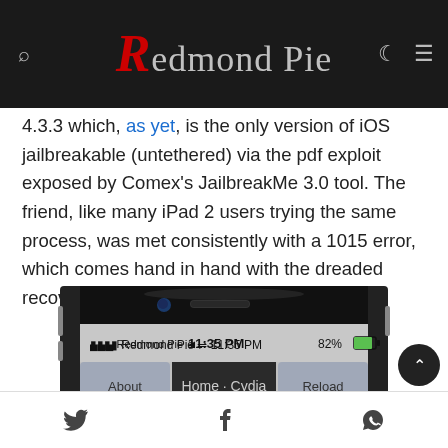Redmond Pie
4.3.3 which, as yet, is the only version of iOS jailbreakable (untethered) via the pdf exploit exposed by Comex's JailbreakMe 3.0 tool. The friend, like many iPad 2 users trying the same process, was met consistently with a 1015 error, which comes hand in hand with the dreaded recovery loop.
[Figure (photo): iPhone/iPad device showing Cydia browser with Redmond Pie homepage. Status bar shows 11:35 PM, 82% battery, WiFi connected.]
Share icons: Twitter, Facebook, WhatsApp